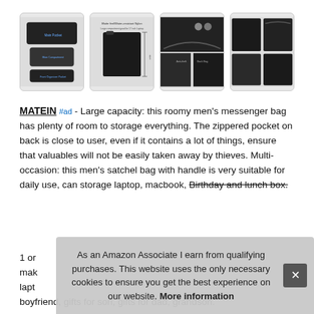[Figure (photo): Four product thumbnail images of MATEIN messenger bags in black, showing different angles and configurations]
MATEIN #ad - Large capacity: this roomy men's messenger bag has plenty of room to storage everything. The zippered pocket on back is close to user, even if it contains a lot of things, ensure that valuables will not be easily taken away by thieves. Multi-occasion: this men's satchel bag with handle is very suitable for daily use, can storage laptop, macbook, Birthday and lunch box. 1 or make lapt boyfriend, gifts for son, gifts for dad, grandson.
As an Amazon Associate I earn from qualifying purchases. This website uses the only necessary cookies to ensure you get the best experience on our website. More information